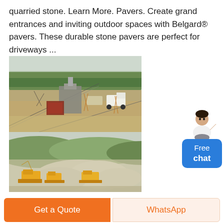quarried stone. Learn More. Pavers. Create grand entrances and inviting outdoor spaces with Belgard® pavers. These durable stone pavers are perfect for driveways ...
[Figure (photo): Top: Industrial quarry stone crushing machinery with conveyor belts, trucks, and equipment on dusty terrain with trees in background. Bottom: Open-pit quarry with yellow excavation machinery and large white stone/rock deposits with green hills in background.]
[Figure (illustration): Chat widget showing a person (woman in white shirt) pointing, with a blue button labeled 'Free chat']
Get a Quote
WhatsApp